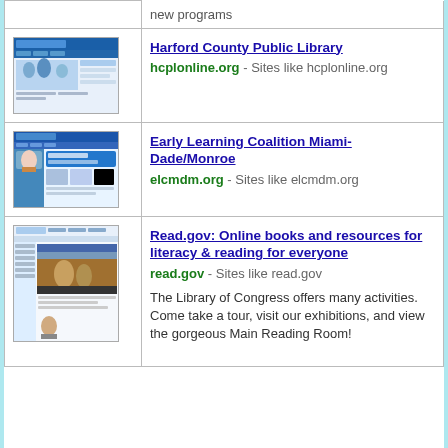| [image] | new programs |
| [image: Harford County Public Library website screenshot] | Harford County Public Library
hcplonline.org - Sites like hcplonline.org |
| [image: Early Learning Coalition Miami-Dade/Monroe website screenshot] | Early Learning Coalition Miami-Dade/Monroe
elcmdm.org - Sites like elcmdm.org |
| [image: Read.gov website screenshot] | Read.gov: Online books and resources for literacy & reading for everyone
read.gov - Sites like read.gov

The Library of Congress offers many activities. Come take a tour, visit our exhibitions, and view the gorgeous Main Reading Room! |